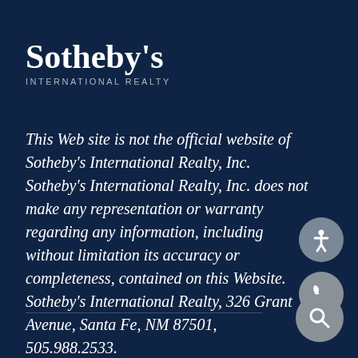Sotheby's INTERNATIONAL REALTY
This Web site is not the official website of Sotheby's International Realty, Inc. Sotheby's International Realty, Inc. does not make any representation or warranty regarding any information, including without limitation its accuracy or completeness, contained on this Website. Sotheby's International Realty, 326 Grant Avenue, Santa Fe, NM 87501, 505.988.2533.
[Figure (infographic): Accessibility button icon (person with arms outstretched), phone call button icon, and search/magnifier button icon — circular grey buttons on the right side of the page]